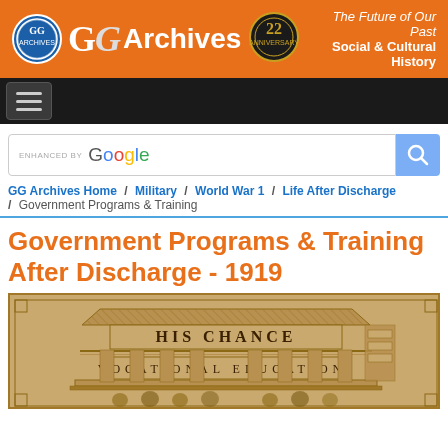GG Archives — The Future of Our Past Social & Cultural History
ENHANCED BY Google
GG Archives Home / Military / World War 1 / Life After Discharge / Government Programs & Training
Government Programs & Training After Discharge - 1919
[Figure (illustration): Vintage sepia illustration of a classical building/temple with 'HIS CHANCE' text above a pediment and 'VOCATIONAL EDUCATION.' text on a frieze, with columns below. Decorative border around the image.]